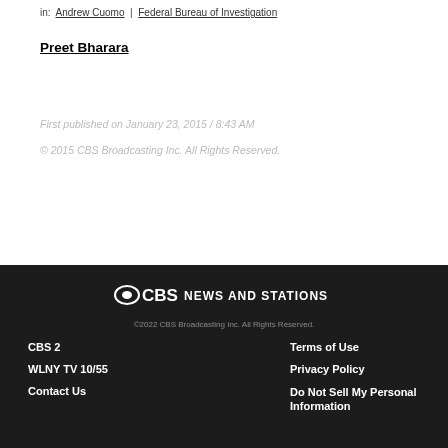in: Andrew Cuomo | Federal Bureau of Investigation
Preet Bharara
First published on January 23, 2015 / 8:43 AM
© 2015 CBS Broadcasting Inc. All Rights Reserved.
CBS NEWS AND STATIONS
©2022 CBS Broadcasting Inc. All Rights Reserved.
CBS 2 | Terms of Use
WLNY TV 10/55 | Privacy Policy
Contact Us | Do Not Sell My Personal Information